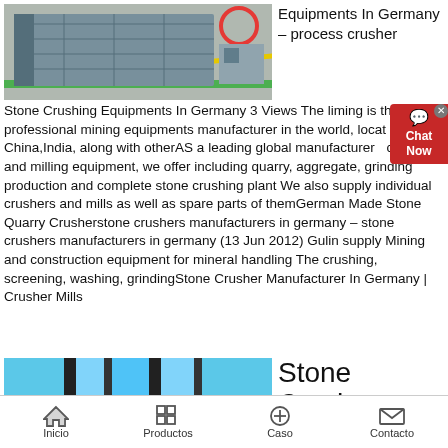[Figure (photo): Photo of large industrial stone crushing equipment, grey machinery on a warehouse floor with green and yellow floor markings, red circular element visible on right side.]
Equipments In Germany – process crusher
Stone Crushing Equipments In Germany 3 Views The liming is the professional mining equipments manufacturer in the world, located in China,India, along with otherAS a leading global manufacturer of crushing and milling equipment, we offer including quarry, aggregate, grinding production and complete stone crushing plant We also supply individual crushers and mills as well as spare parts of themGerman Made Stone Quarry Crusherstone crushers manufacturers in germany – stone crushers manufacturers in germany (13 Jun 2012) Gulin supply Mining and construction equipment for mineral handling The crushing, screening, washing, grindingStone Crusher Manufacturer In Germany | Crusher Mills
[Figure (photo): Photo of blue and black industrial equipment, possibly a conveyor or crusher, with vertical black bars against a blue background.]
Stone Crush...